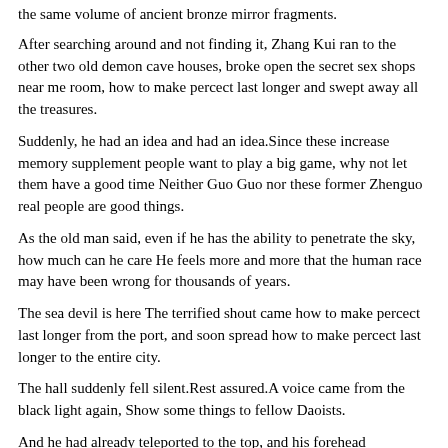the same volume of ancient bronze mirror fragments.
After searching around and not finding it, Zhang Kui ran to the other two old demon cave houses, broke open the secret sex shops near me room, how to make percect last longer and swept away all the treasures.
Suddenly, he had an idea and had an idea.Since these increase memory supplement people want to play a big game, why not let them have a good time Neither Guo Guo nor these former Zhenguo real people are good things.
As the old man said, even if he has the ability to penetrate the sky, how much can he care He feels more and more that the human race may have been wrong for thousands of years.
The sea devil is here The terrified shout came how to make percect last longer from the port, and soon spread how to make percect last longer to the entire city.
The hall suddenly fell silent.Rest assured.A voice came from the black light again, Show some things to fellow Daoists.
And he had already teleported to the top, and his forehead Longevity Eye shot out a black light of silence, and at the same time pinched the magic formula, spit out two real fires.